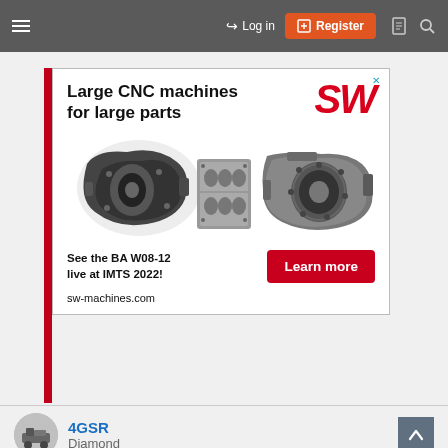Log in  Register
[Figure (infographic): Advertisement for SW (Schwäbische Werkzeugmaschinen) CNC machines. Headline: 'Large CNC machines for large parts'. Shows three large metal machined parts (transmission/gearbox housings). Text: 'See the BA W08-12 live at IMTS 2022!'. Button: 'Learn more'. URL: sw-machines.com. SW logo in red italic.]
4GSR
Diamond